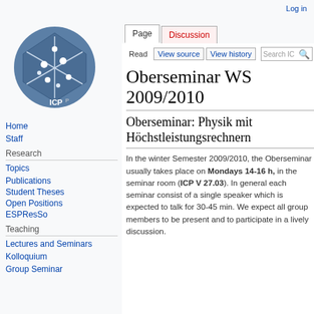Log in
[Figure (logo): ICP institute logo — blue circle with star/graph motif and 'ICP' text]
Page | Discussion
Read | View source | View history | Search
Oberseminar WS 2009/2010
Oberseminar: Physik mit Höchstleistungsrechnern
In the winter Semester 2009/2010, the Oberseminar usually takes place on Mondays 14-16 h, in the seminar room (ICP V 27.03). In general each seminar consist of a single speaker which is expected to talk for 30-45 min. We expect all group members to be present and to participate in a lively discussion.
Home
Staff
Research
Topics
Publications
Student Theses
Open Positions
ESPResSo
Teaching
Lectures and Seminars
Kolloquium
Group Seminar